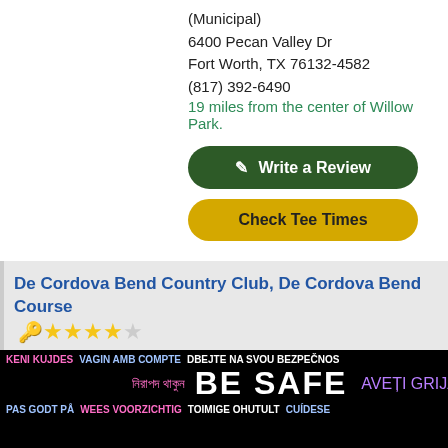(Municipal)
6400 Pecan Valley Dr
Fort Worth, TX 76132-4582
(817) 392-6490
19 miles from the center of Willow Park.
✎ Write a Review
Check Tee Times
De Cordova Bend Country Club, De Cordova Bend Course 🔑 ★★★★☆ (1)
18 holes over 6,423 yards with a par of 70
(Private)
5301 Country Club Dr
Granbury, TX 76049-5228
(817) 326-2381
19 miles from the center of Willow Park.
✎ Write a Review
[Figure (other): BE SAFE multilingual safety advertisement banner with close button and Durant text]